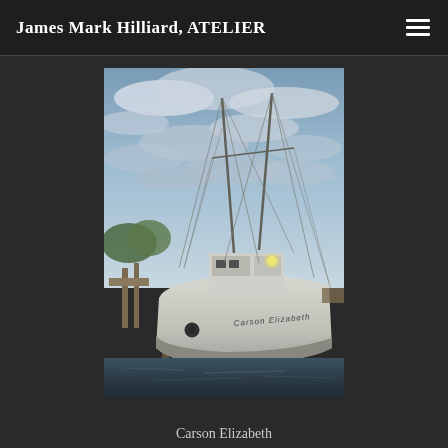James Mark Hilliard, ATELIER
[Figure (photo): A weathered fishing/shrimp boat named 'Carson Elizabeth' docked at a pier, with tall masts and rigging visible against a dramatic cloudy sky. The boat is white and aged, moored alongside a wooden dock with water visible.]
Carson Elizabeth